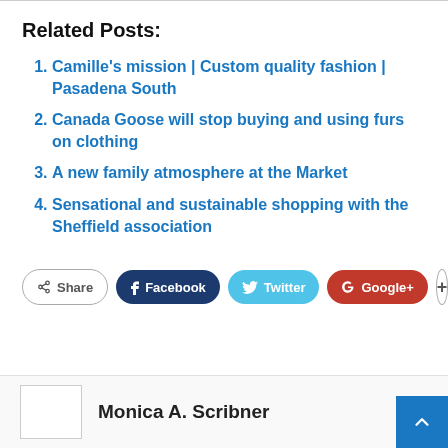Related Posts:
Camille's mission | Custom quality fashion | Pasadena South
Canada Goose will stop buying and using furs on clothing
A new family atmosphere at the Market
Sensational and sustainable shopping with the Sheffield association
Share | Facebook | Twitter | Google+ | +
Monica A. Scribner